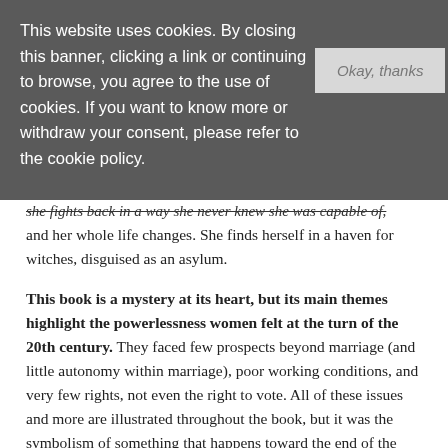This website uses cookies. By closing this banner, clicking a link or continuing to browse, you agree to the use of cookies. If you want to know more or withdraw your consent, please refer to the cookie policy.
she fights back in a way she never knew she was capable of, and her whole life changes. She finds herself in a haven for witches, disguised as an asylum.
This book is a mystery at its heart, but its main themes highlight the powerlessness women felt at the turn of the 20th century. They faced few prospects beyond marriage (and little autonomy within marriage), poor working conditions, and very few rights, not even the right to vote. All of these issues and more are illustrated throughout the book, but it was the symbolism of something that happens toward the end of the story that was most powerful to me. Of course, I can't tell you what that is because it would be a major spoiler, but suffice it to say things get very messy in